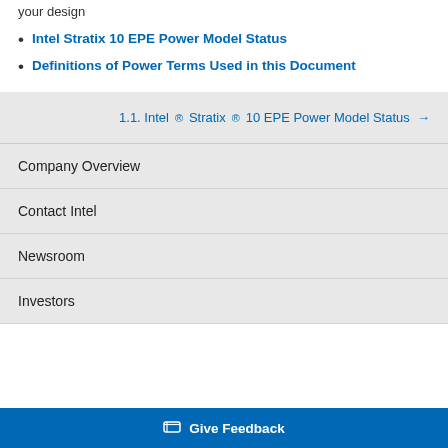your design
Intel Stratix 10 EPE Power Model Status
Definitions of Power Terms Used in this Document
1.1. Intel® Stratix® 10 EPE Power Model Status →
Company Overview
Contact Intel
Newsroom
Investors
Give Feedback